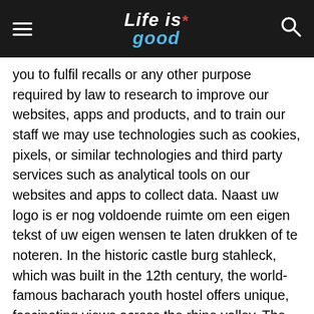Life is good
you to fulfil recalls or any other purpose required by law to research to improve our websites, apps and products, and to train our staff we may use technologies such as cookies, pixels, or similar technologies and third party services such as analytical tools on our websites and apps to collect data. Naast uw logo is er nog voldoende ruimte om een eigen tekst of uw eigen wensen te laten drukken of te noteren. In the historic castle burg stahleck, which was built in the 12th century, the world-famous bacharach youth hostel offers unique, fascinating views across the rhine valley. The rfp is particularly ominous for the off-track betting corporations and racinos in western new york, which will have their “sustainability” examined. Small cherry barbs are easy prey for predator fish so you should keep them with other community fishes like harlequin rasbora, neon tetra, betta, cardinal tetra, neon tetra, and catfish. Tm studios tattoo find great deals on ebay for tm studios. The word knight